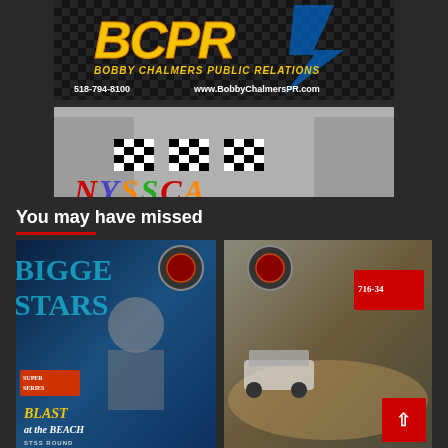[Figure (logo): BCPR Bobby Chalmers Public Relations banner with checkered flag background, yellow/orange logo text. Phone: 518-794-8100, Website: www.BobbyChalmerssPR.com]
[Figure (logo): NYSSCA logo banner with colorful lettering and checkered flags with racing cars on top]
You may have missed
[Figure (photo): Racing event photo with Blast at the Beach Super Series STSS promotional image, person wearing cap in foreground]
[Figure (photo): Racing event photo showing sprint cars on dirt track with number 716-34 visible on signage]